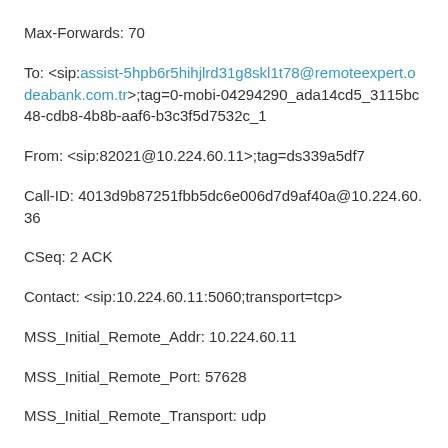Max-Forwards: 70
To: <sip:assist-5hpb6r5hihjlrd31g8skl1t78@remoteexpert.odeabank.com.tr>;tag=0-mobi-04294290_ada14cd5_3115bc48-cdb8-4b8b-aaf6-b3c3f5d7532c_1
From: <sip:82021@10.224.60.11>;tag=ds339a5df7
Call-ID: 4013d9b87251fbb5dc6e006d7d9af40a@10.224.60.36
CSeq: 2 ACK
Contact: <sip:10.224.60.11:5060;transport=tcp>
MSS_Initial_Remote_Addr: 10.224.60.11
MSS_Initial_Remote_Port: 57628
MSS_Initial_Remote_Transport: udp